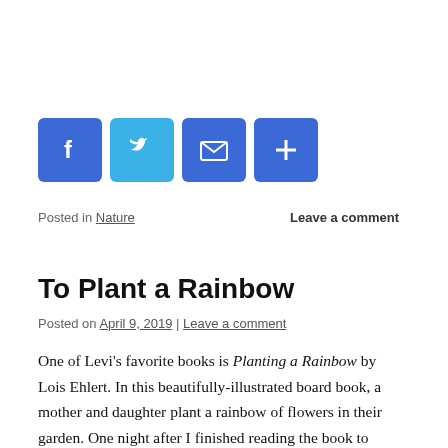[Figure (other): Social sharing buttons: Facebook (blue), Twitter (light blue), Email (blue envelope), Share/More (blue plus)]
Posted in Nature   Leave a comment
To Plant a Rainbow
Posted on April 9, 2019 | Leave a comment
One of Levi's favorite books is Planting a Rainbow by Lois Ehlert. In this beautifully-illustrated board book, a mother and daughter plant a rainbow of flowers in their garden. One night after I finished reading the book to him, Levi told me that he wanted to plant a rainbow